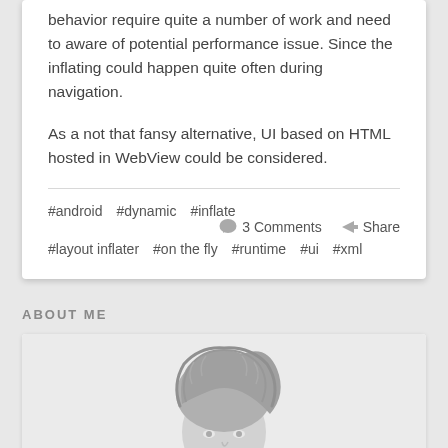behavior require quite a number of work and need to aware of potential performance issue. Since the inflating could happen quite often during navigation.
As a not that fansy alternative, UI based on HTML hosted in WebView could be considered.
#android #dynamic #inflate    💬 3 Comments  ↪ Share
#layout inflater #on the fly #runtime #ui #xml
ABOUT ME
[Figure (photo): A black and white portrait photo of a person, showing their head and shoulders with tousled hair, displayed in the About Me section.]